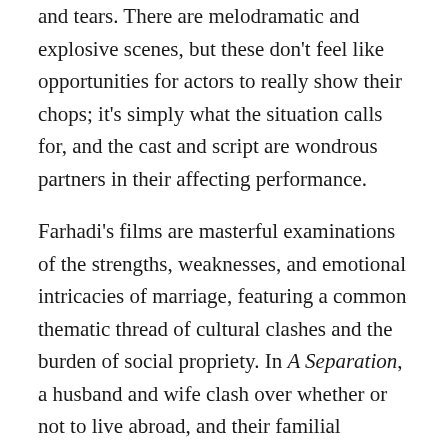and tears. There are melodramatic and explosive scenes, but these don't feel like opportunities for actors to really show their chops; it's simply what the situation calls for, and the cast and script are wondrous partners in their affecting performance.
Farhadi's films are masterful examinations of the strengths, weaknesses, and emotional intricacies of marriage, featuring a common thematic thread of cultural clashes and the burden of social propriety. In A Separation, a husband and wife clash over whether or not to live abroad, and their familial responsibilities to their daughter and his father. In The Past, an Iranian man married-but-estranged